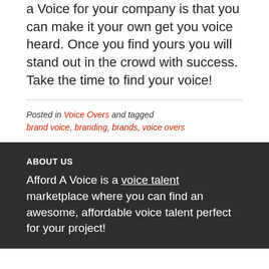a Voice for your company is that you can make it your own get you voice heard. Once you find yours you will stand out in the crowd with success. Take the time to find your voice!
Posted in Voice Overs and tagged brand voice, branding, brands, voice overs
ABOUT US
Afford A Voice is a voice talent marketplace where you can find an awesome, affordable voice talent perfect for your project!